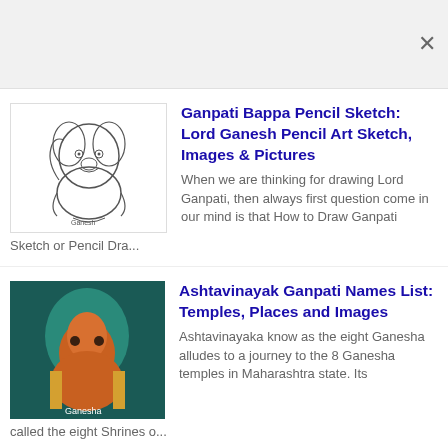[Figure (screenshot): Gray top bar area with close X button]
[Figure (illustration): Pencil sketch thumbnail of Lord Ganesha]
Ganpati Bappa Pencil Sketch: Lord Ganesh Pencil Art Sketch, Images & Pictures
When we are thinking for drawing Lord Ganpati, then always first question come in our mind is that How to Draw Ganpati Sketch or Pencil Dra...
[Figure (photo): Photo thumbnail of orange Ashtavinayak Ganesha idol with blue background]
Ashtavinayak Ganpati Names List: Temples, Places and Images
Ashtavinayaka know as the eight Ganesha alludes to a journey to the 8 Ganesha temples in Maharashtra state. Its called the eight Shrines o...
[Figure (photo): Photo thumbnail of Ganesha idol with dark background]
Images of Ganesha: Ganpati Bappa Photo, Ganesh Ji 4K HD Wallpapers, PNG Pictures
Ganpati Bappa is considered to be the first among all the deities, so he is worshiped before any auspicious work. It is